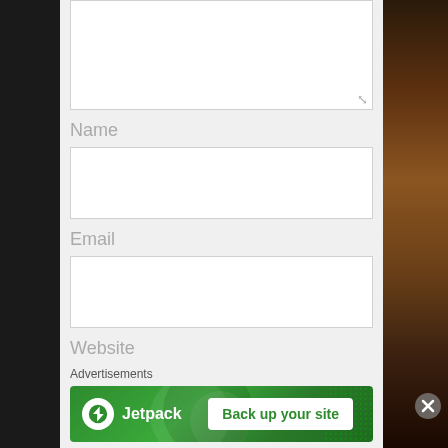[Figure (screenshot): Partial textarea at top of comment form, white background with resize handle]
Name
[Figure (screenshot): Name input field, white rectangle]
Email
[Figure (screenshot): Email input field, white rectangle]
Website
[Figure (screenshot): Website input field, white rectangle]
Advertisements
[Figure (screenshot): Jetpack advertisement banner with green background, Jetpack logo on left, 'Back up your site' button on right]